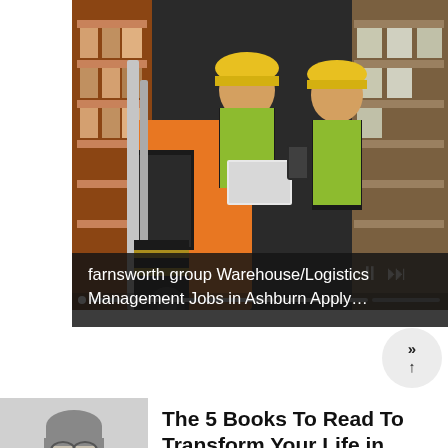[Figure (photo): Two warehouse workers in yellow hard hats and reflective vests near a forklift in a warehouse with shelving. One sits on the forklift holding a phone, the other stands with a laptop. Video player progress bar and pause/next controls visible.]
farnsworth group Warehouse/Logistics Management Jobs in Ashburn Apply…
[Figure (photo): Black and white thumbnail photo of a person with long hair and glasses, shown from shoulders up.]
The 5 Books To Read To Transform Your Life in 2022
Blinkist